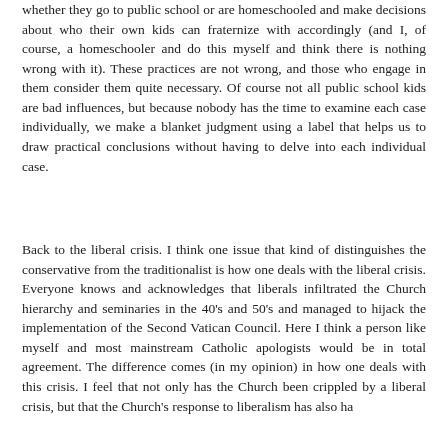whether they go to public school or are homeschooled and make decisions about who their own kids can fraternize with accordingly (and I, of course, a homeschooler and do this myself and think there is nothing wrong with it). These practices are not wrong, and those who engage in them consider them quite necessary. Of course not all public school kids are bad influences, but because nobody has the time to examine each case individually, we make a blanket judgment using a label that helps us to draw practical conclusions without having to delve into each individual case.
Back to the liberal crisis. I think one issue that kind of distinguishes the conservative from the traditionalist is how one deals with the liberal crisis. Everyone knows and acknowledges that liberals infiltrated the Church hierarchy and seminaries in the 40's and 50's and managed to hijack the implementation of the Second Vatican Council. Here I think a person like myself and most mainstream Catholic apologists would be in total agreement. The difference comes (in my opinion) in how one deals with this crisis. I feel that not only has the Church been crippled by a liberal crisis, but that the Church's response to liberalism has also ha...